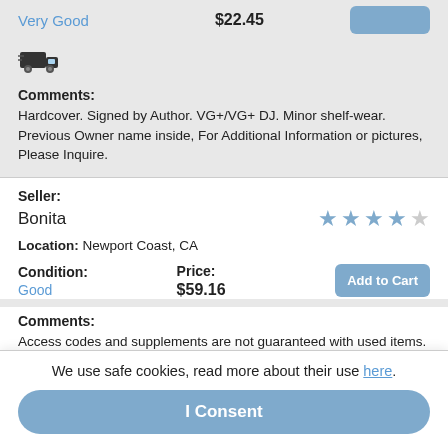Very Good  $22.45
[Figure (illustration): Delivery truck icon]
Comments: Hardcover. Signed by Author. VG+/VG+ DJ. Minor shelf-wear. Previous Owner name inside, For Additional Information or pictures, Please Inquire.
Seller: Bonita
Location: Newport Coast, CA
Condition: Good  Price: $59.16
Comments: Access codes and supplements are not guaranteed with used items. May be an ex-library book.
We use safe cookies, read more about their use here.
I Consent